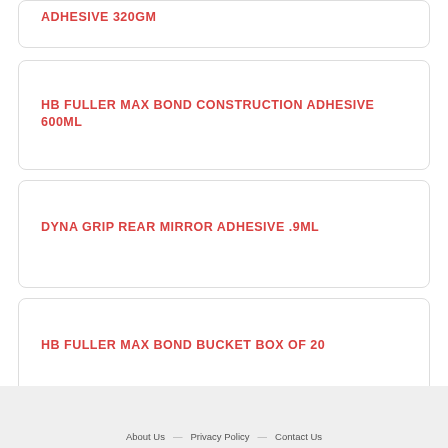ADHESIVE 320GM
HB FULLER MAX BOND CONSTRUCTION ADHESIVE 600ML
DYNA GRIP REAR MIRROR ADHESIVE .9ML
HB FULLER MAX BOND BUCKET BOX OF 20
About Us — Privacy Policy — Contact Us